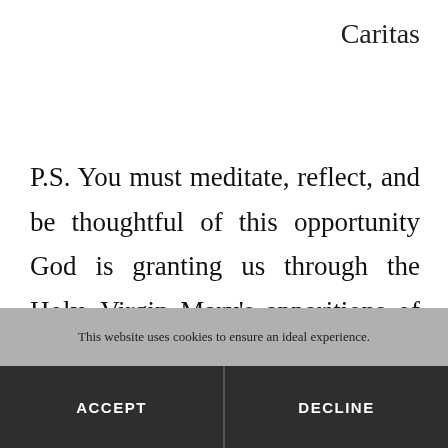Caritas
P.S. You must meditate, reflect, and be thoughtful of this opportunity God is granting us through the Holy, Virgin Mary's apparitions of July 1–5,
This website uses cookies to ensure an ideal experience.
ACCEPT
DECLINE